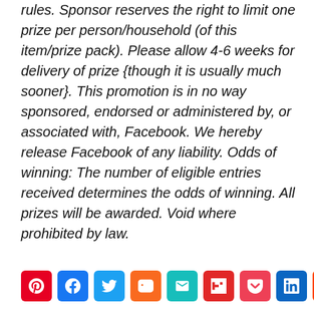rules. Sponsor reserves the right to limit one prize per person/household (of this item/prize pack). Please allow 4-6 weeks for delivery of prize {though it is usually much sooner}. This promotion is in no way sponsored, endorsed or administered by, or associated with, Facebook. We hereby release Facebook of any liability. Odds of winning: The number of eligible entries received determines the odds of winning. All prizes will be awarded. Void where prohibited by law.
[Figure (other): Social sharing buttons row: Pinterest (red), Facebook (blue), Twitter (light blue), Mix (orange), Email (teal), Flipboard (red), Pocket (pink-red), LinkedIn (dark blue), Reddit (orange-red)]